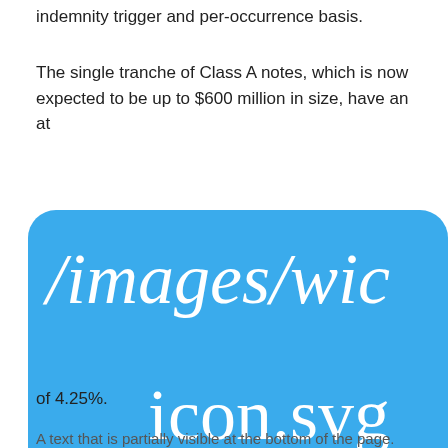indemnity trigger and per-occurrence basis.
The single tranche of Class A notes, which is now expected to be up to $600 million in size, have an at
[Figure (other): Broken image placeholder showing path /images/wic and icon.svg on blue rounded rectangle background]
the
of 4.25%.
A text that is partially visible at the bottom of the page.